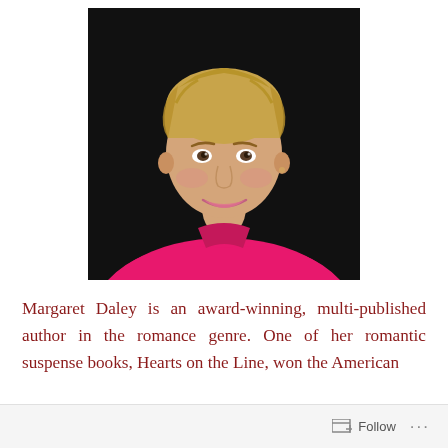[Figure (photo): Portrait photo of Margaret Daley, a woman with short blonde hair wearing a bright pink blazer, smiling against a dark background.]
Margaret Daley is an award-winning, multi-published author in the romance genre. One of her romantic suspense books, Hearts on the Line, won the American